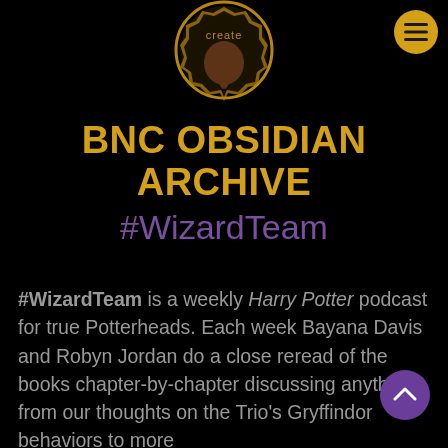[Figure (logo): BNC Create logo — a lightbulb-like badge with the word 'create' and a brown teardrop/bulb shape on black background, outlined in dark gold]
BNC OBSIDIAN ARCHIVE
#WizardTeam
#WizardTeam is a weekly Harry Potter podcast for true Potterheads. Each week Bayana Davis and Robyn Jordan do a close reread of the books chapter-by-chapter discussing anything from our thoughts on the Trio's Gryffindor behaviors to more